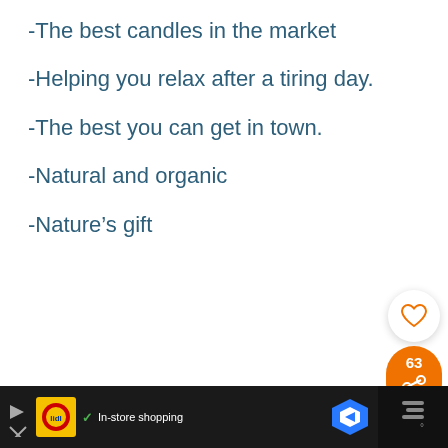-The best candles in the market
-Helping you relax after a tiring day.
-The best you can get in town.
-Natural and organic
-Nature’s gift
[Figure (infographic): Social media UI overlay: heart/like button (white circle with orange heart outline), share count badge showing 63 in orange, share button with arrow icon in orange circle. 'What's Next' banner with thumbnail and text '251+ Car Freshener...']
[Figure (screenshot): Bottom ad bar: Lidl logo in yellow box, checkmark with 'In-store shopping' text, blue hexagon Maps icon, dark right section with bars icon and degree symbol]